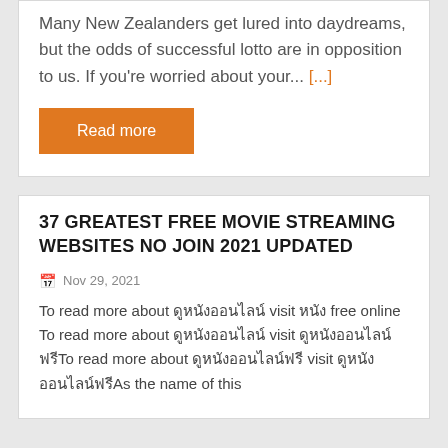Many New Zealanders get lured into daydreams, but the odds of successful lotto are in opposition to us. If you're worried about your... [...]
Read more
37 GREATEST FREE MOVIE STREAMING WEBSITES NO JOIN 2021 UPDATED
Nov 29, 2021
To read more about ดูหนังออนไลน์ visit หนัง free online To read more about ดูหนังออนไลน์ visit ดูหนังออนไลน์ฟรีTo read more about ดูหนังออนไลน์ฟรี visit ดูหนังออนไลน์ฟรีAs the name of this website suggests, it...